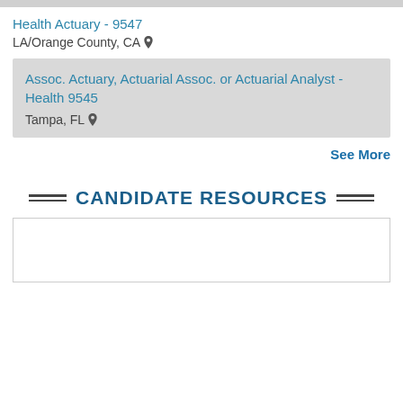Health Actuary - 9547
LA/Orange County, CA
Assoc. Actuary, Actuarial Assoc. or Actuarial Analyst - Health 9545
Tampa, FL
See More
CANDIDATE RESOURCES